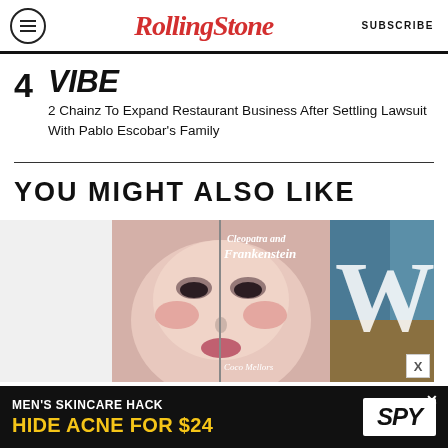Rolling Stone | SUBSCRIBE
4  VIBE  2 Chainz To Expand Restaurant Business After Settling Lawsuit With Pablo Escobar's Family
YOU MIGHT ALSO LIKE
[Figure (photo): Book cover of 'Cleopatra and Frankenstein' by Coco Mellors, showing a woman's face with dramatic makeup]
[Figure (photo): Partial view of another book cover showing a large letter W with blue and gold background]
[Figure (other): Advertisement banner: MEN'S SKINCARE HACK HIDE ACNE FOR $24 with SPY logo]